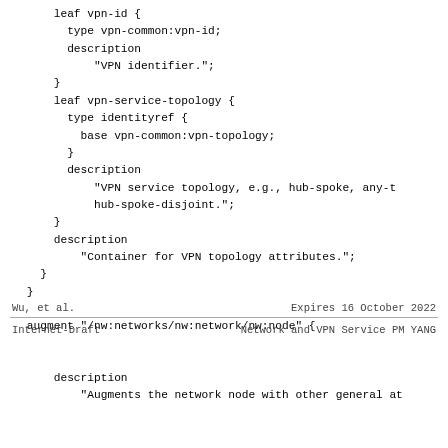leaf vpn-id {
  type vpn-common:vpn-id;
  description
    "VPN identifier.";
}
leaf vpn-service-topology {
  type identityref {
    base vpn-common:vpn-topology;
  }
  description
    "VPN service topology, e.g., hub-spoke, any-t
    hub-spoke-disjoint.";
}
description
  "Container for VPN topology attributes.";
}
}

augment "/nw:networks/nw:network/nw:node" {
Wu, et al.                Expires 16 October 2022
Internet-Draft       Network and VPN Service PM YANG
description
  "Augments the network node with other general at